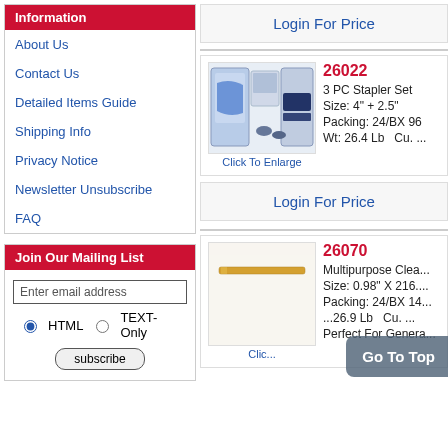Information
About Us
Contact Us
Detailed Items Guide
Shipping Info
Privacy Notice
Newsletter Unsubscribe
FAQ
Join Our Mailing List
Enter email address
HTML  TEXT-Only
subscribe
Login For Price
26022
3 PC Stapler Set
Size: 4" + 2.5"
Packing: 24/BX 96...
Wt: 26.4 Lb   Cu. ...
Click To Enlarge
Login For Price
26070
Multipurpose Clea...
Size: 0.98" X 216....
Packing: 24/BX 14...
...26.9 Lb   Cu. ...
Perfect For Genera...
Click To Enlarge
Go To Top